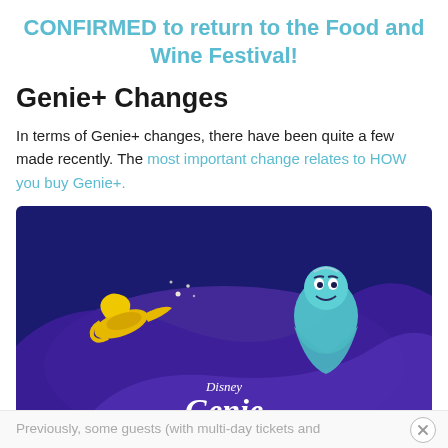CONFIRMED to return to the Food and Wine Festival!
Genie+ Changes
In terms of Genie+ changes, there have been quite a few made recently. The most important change relates to HOW you buy Genie+.
[Figure (illustration): Disney Genie promotional image with dark blue background, showing the Aladdin genie character and a magic lamp with the text 'Disney Genie' in white cursive lettering on a purple swirl.]
©Disney
Previously, some guests (with multi-day tickets and